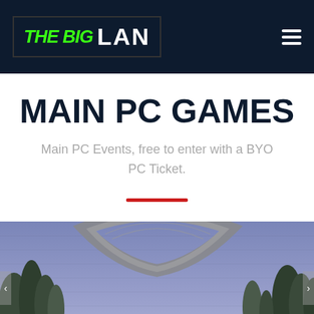THE BIG LAN
MAIN PC GAMES
Main PC Events, free to enter with a BYO PC Ticket.
[Figure (photo): Halo game artwork showing the Halo ring structure with trees and sky in a blue-purple tone, with partial HALO text visible at bottom]